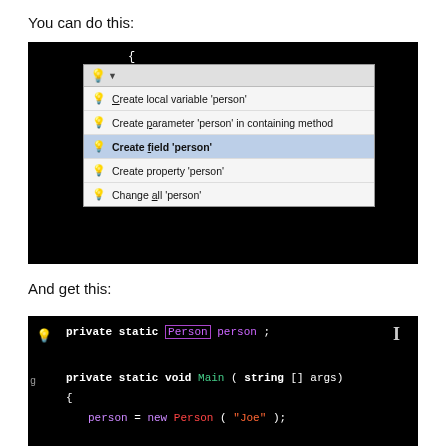You can do this:
[Figure (screenshot): IDE screenshot showing a code editor with a Quick Fix dropdown menu. The code shows: person = new Person("Joe"); with 'person' highlighted. The dropdown offers: Create local variable 'person', Create parameter 'person' in containing method, Create field 'person' (selected/highlighted), Create property 'person', Change all 'person'.]
And get this:
[Figure (screenshot): IDE screenshot showing generated code: private static Person person; with Person boxed in purple, and private static void Main(string[] args) { person = new Person("Joe"); A lightbulb icon and text cursor are visible.]